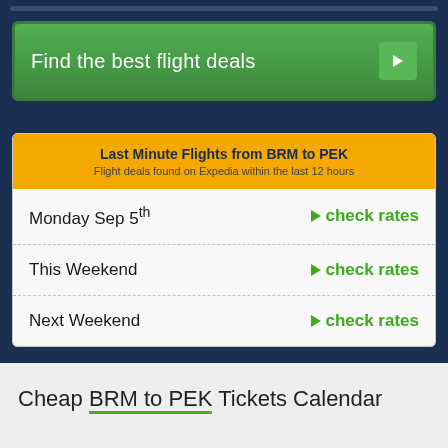[Figure (screenshot): Green button with text 'Find the best flight deals' and a right-arrow icon on dark blue background]
Last Minute Flights from BRM to PEK
Flight deals found on Expedia within the last 12 hours
Monday Sep 5th — check rates
This Weekend — check rates
Next Weekend — check rates
Cheap BRM to PEK Tickets Calendar